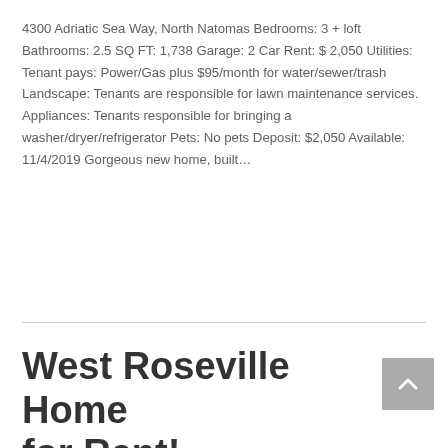4300 Adriatic Sea Way, North Natomas Bedrooms: 3 + loft Bathrooms: 2.5 SQ FT: 1,738 Garage: 2 Car Rent: $ 2,050 Utilities: Tenant pays: Power/Gas plus $95/month for water/sewer/trash Landscape: Tenants are responsible for lawn maintenance services. Appliances: Tenants responsible for bringing a washer/dryer/refrigerator Pets: No pets Deposit: $2,050 Available: 11/4/2019 Gorgeous new home, built...
Read More
West Roseville Home for Rent!